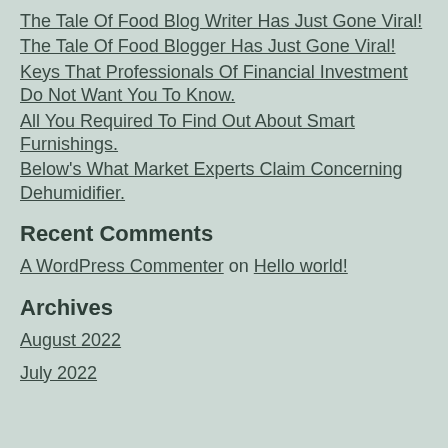The Tale Of Food Blog Writer Has Just Gone Viral!
The Tale Of Food Blogger Has Just Gone Viral!
Keys That Professionals Of Financial Investment Do Not Want You To Know.
All You Required To Find Out About Smart Furnishings.
Below's What Market Experts Claim Concerning Dehumidifier.
Recent Comments
A WordPress Commenter on Hello world!
Archives
August 2022
July 2022